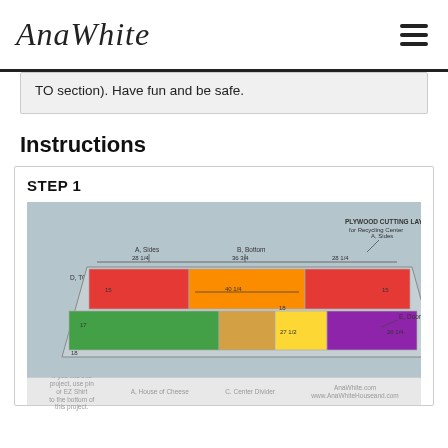AnaWhite
TO section). Have fun and be safe.
Instructions
STEP 1
[Figure (engineering-diagram): Plywood cutting layout for Recycling Center showing labeled sections A (Sides), B (Bottom), D (Top), E (Doors), C (Center Divider) with colored rectangular pieces (red, orange, green, teal, yellow, purple) and dimensions including 28 1/4, 36 3/4, 28 1/4, 40 1/4, 27 1/2 and various other measurements.]